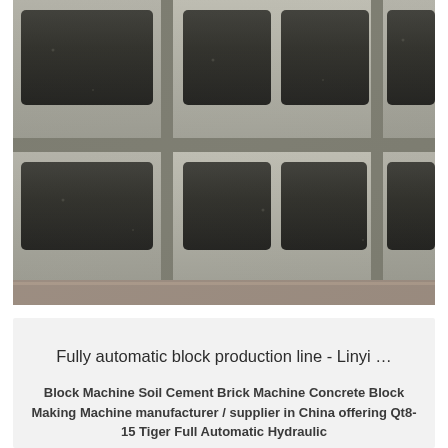[Figure (photo): Close-up photograph of stacked gray concrete hollow blocks (cinder blocks) showing rectangular cavities, arranged in rows on a flat surface]
Fully automatic block production line - Linyi …
Block Machine Soil Cement Brick Machine Concrete Block Making Machine manufacturer / supplier in China offering Qt8-15 Tiger Full Automatic Hydraulic